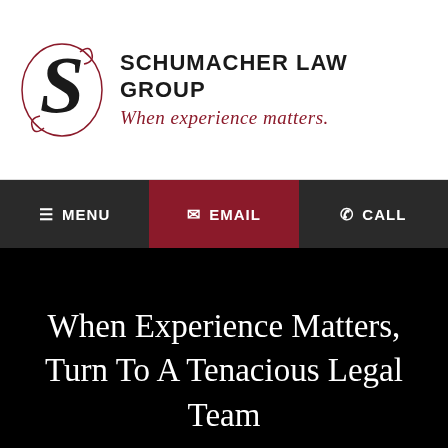[Figure (logo): Schumacher Law Group logo with decorative S monogram and firm name with tagline 'When experience matters.']
MENU  EMAIL  CALL
When Experience Matters, Turn To A Tenacious Legal Team
Experienced Guidance For